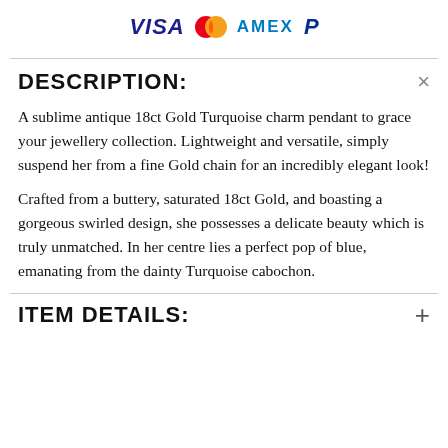[Figure (logo): Payment method logos: VISA, Mastercard, AMEX, PayPal]
DESCRIPTION:
A sublime antique 18ct Gold Turquoise charm pendant to grace your jewellery collection. Lightweight and versatile, simply suspend her from a fine Gold chain for an incredibly elegant look!
Crafted from a buttery, saturated 18ct Gold, and boasting a gorgeous swirled design, she possesses a delicate beauty which is truly unmatched. In her centre lies a perfect pop of blue, emanating from the dainty Turquoise cabochon.
ITEM DETAILS: